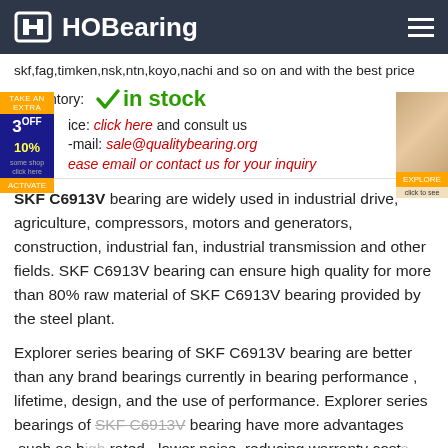HOBearing
skf,fag,timken,nsk,ntn,koyo,nachi and so on and with the best price
› Inventory: ✓ in stock
Price: click here and consult us
E-mail: sale@qualitybearing.org
Please email or contact us for your inquiry
SKF C6913V bearing are widely used in industrial drive, agriculture, compressors, motors and generators, construction, industrial fan, industrial transmission and other fields. SKF C6913V bearing can ensure high quality for more than 80% raw material of SKF C6913V bearing provided by the steel plant.
Explorer series bearing of SKF C6913V bearing are better than any brand bearings currently in bearing performance , lifetime, design, and the use of performance. Explorer series bearings of SKF C6913V bearing have more advantages ,such as higher rated , lower noise, reducing warranty costs greatly, increasing running time of the machine.